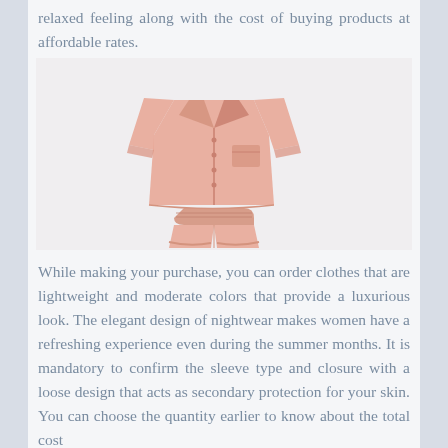relaxed feeling along with the cost of buying products at affordable rates.
[Figure (photo): A pink short-sleeve pajama set consisting of a button-up collared shirt and matching shorts, displayed on a light background.]
While making your purchase, you can order clothes that are lightweight and moderate colors that provide a luxurious look. The elegant design of nightwear makes women have a refreshing experience even during the summer months. It is mandatory to confirm the sleeve type and closure with a loose design that acts as secondary protection for your skin. You can choose the quantity earlier to know about the total cost